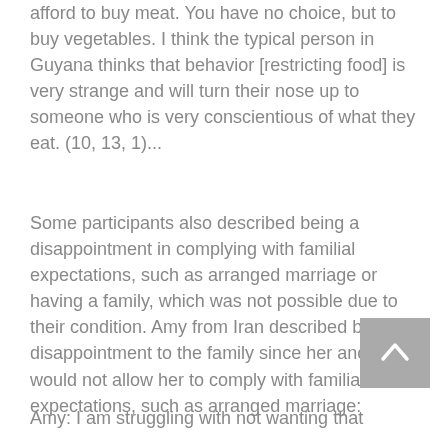afford to buy meat. You have no choice, but to buy vegetables. I think the typical person in Guyana thinks that behavior [restricting food] is very strange and will turn their nose up to someone who is very conscientious of what they eat. (10, 13, 1)...
Some participants also described being a disappointment in complying with familial expectations, such as arranged marriage or having a family, which was not possible due to their condition. Amy from Iran described being a disappointment to the family since her anorexia would not allow her to comply with familial expectations, such as arranged marriage:
Amy: I am struggling with not wanting that